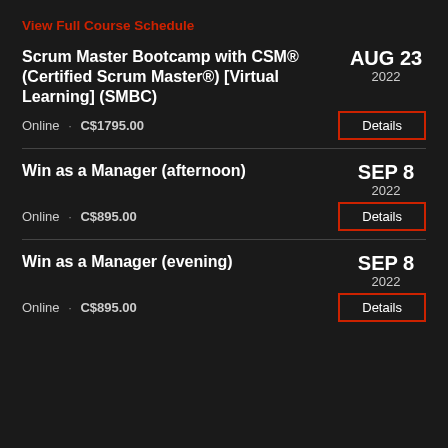View Full Course Schedule
Scrum Master Bootcamp with CSM® (Certified Scrum Master®) [Virtual Learning] (SMBC)
AUG 23
2022
Online · C$1795.00
Details
Win as a Manager (afternoon)
SEP 8
2022
Online · C$895.00
Details
Win as a Manager (evening)
SEP 8
2022
Online · C$895.00
Details